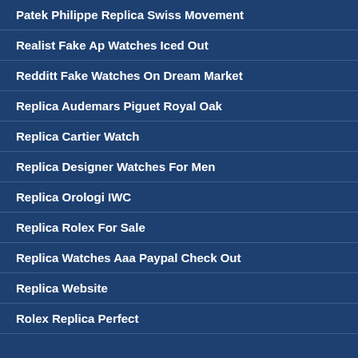Patek Philippe Replica Swiss Movement
Realist Fake Ap Watches Iced Out
Redditt Fake Watches On Dream Market
Replica Audemars Piguet Royal Oak
Replica Cartier Watch
Replica Designer Watches For Men
Replica Orologi IWC
Replica Rolex For Sale
Replica Watches Aaa Paypal Check Out
Replica Website
Rolex Replica Perfect